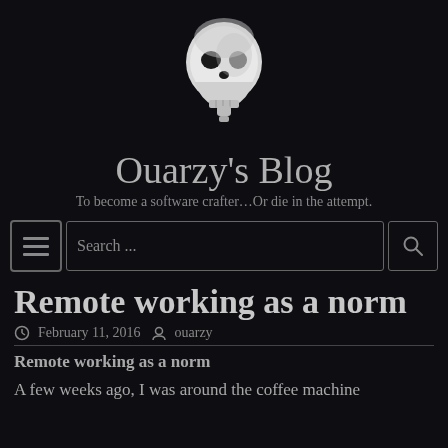[Figure (illustration): A white/light gray skull in profile view (facing right) on a dark background, used as the blog logo.]
Ouarzy’s Blog
To become a software crafter…Or die in the attempt.
[Figure (screenshot): Search bar UI with a hamburger menu icon on the left, a search text field in the middle displaying 'Search ...', and a search (magnifying glass) icon button on the right.]
Remote working as a norm
ⓘ February 11, 2016  ● ouarzy
Remote working as a norm
A few weeks ago, I was around the coffee machine